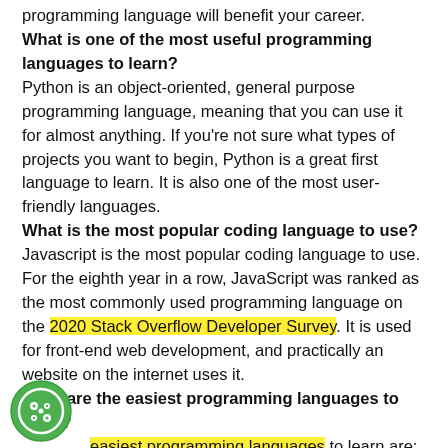programming language will benefit your career.
What is one of the most useful programming languages to learn?
Python is an object-oriented, general purpose programming language, meaning that you can use it for almost anything. If you're not sure what types of projects you want to begin, Python is a great first language to learn. It is also one of the most user-friendly languages.
What is the most popular coding language to use?
Javascript is the most popular coding language to use. For the eighth year in a row, JavaScript was ranked as the most commonly used programming language on the 2020 Stack Overflow Developer Survey. It is used for front-end web development, and practically an website on the internet uses it.
What are the easiest programming languages to learn?
The easiest programming languages to learn are: JavaScript, Ruby, Python, Java, and C/C++. However,